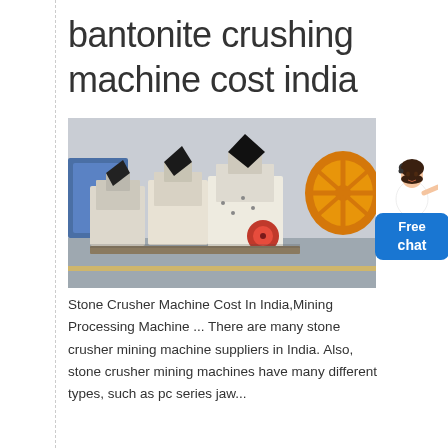bantonite crushing machine cost india
[Figure (photo): Industrial hammer crusher machines lined up on a factory floor, white/cream colored machines with a red wheel visible, large yellow gear/wheel visible in background right]
Stone Crusher Machine Cost In India,Mining Processing Machine ... There are many stone crusher mining machine suppliers in India. Also, stone crusher mining machines have many different types, such as pc series jaw...